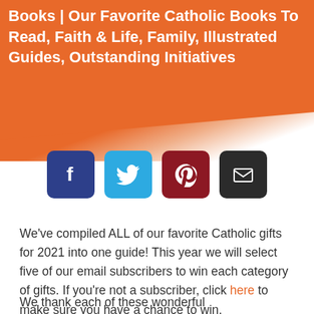Books | Our Favorite Catholic Books To Read, Faith & Life, Family, Illustrated Guides, Outstanding Initiatives
[Figure (infographic): Four social media share buttons: Facebook (blue), Twitter (light blue), Pinterest (dark red), Email (dark/black), all with rounded corners and white icons]
We’ve compiled ALL of our favorite Catholic gifts for 2021 into one guide! This year we will select five of our email subscribers to win each category of gifts. If you’re not a subscriber, click here to make sure you have a chance to win.
We thank each of these wonderful